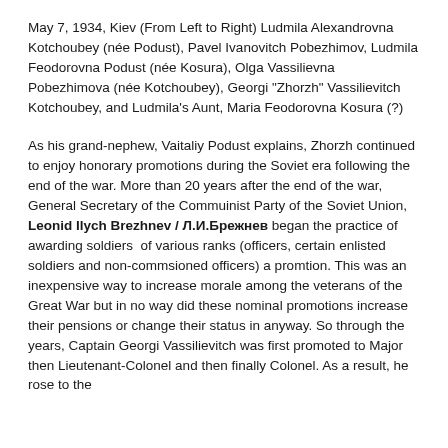May 7, 1934, Kiev (From Left to Right) Ludmila Alexandrovna Kotchoubey (née Podust), Pavel Ivanovitch Pobezhimov, Ludmila Feodorovna Podust (née Kosura), Olga Vassilievna Pobezhimova (née Kotchoubey), Georgi "Zhorzh" Vassilievitch Kotchoubey, and Ludmila's Aunt, Maria Feodorovna Kosura (?)
As his grand-nephew, Vaitaliy Podust explains, Zhorzh continued to enjoy honorary promotions during the Soviet era following the end of the war. More than 20 years after the end of the war, General Secretary of the Commuinist Party of the Soviet Union, Leonid Ilych Brezhnev / Л.И.Брежнев began the practice of awarding soldiers  of various ranks (officers, certain enlisted soldiers and non-commsioned officers) a promtion. This was an inexpensive way to increase morale among the veterans of the Great War but in no way did these nominal promotions increase their pensions or change their status in anyway. So through the years, Captain Georgi Vassilievitch was first promoted to Major then Lieutenant-Colonel and then finally Colonel. As a result, he rose to the